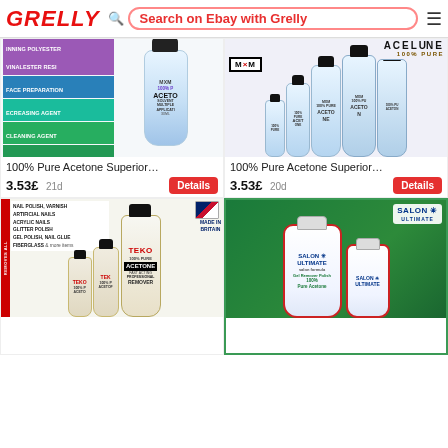GRELLY — Search on Ebay with Grelly
[Figure (photo): 100% Pure Acetone product bottle with colorful label showing multiple use cases (removal of nail finish, false nails, thinning polyester, vinyl ester resin, face preparation, degreasing agent, cleaning agent, solvent for multiple adhesives and resins). MXM brand bottle visible.]
[Figure (photo): 100% Pure Acetone Superior MXM brand — multiple bottle sizes shown with ACETUNE 100% PURE branding at top. Several bottles of varying sizes displayed.]
100% Pure Acetone Superior…
3.53£  21d
Details
100% Pure Acetone Superior…
3.53£  20d
Details
[Figure (photo): TEKO brand 100% Pure Acetone bottles — multiple sizes, Made in Britain flag shown. Label lists: removes all, nail polish, artificial nails, acrylic nails, glitter polish, gel polish, nail glue, fiberglass and more. Professional remover.]
[Figure (photo): SALON ULTIMATE brand — white bottles with green tropical leaf background. Salon Ultimate 100% Pure Acetone / gel remover bottles shown.]